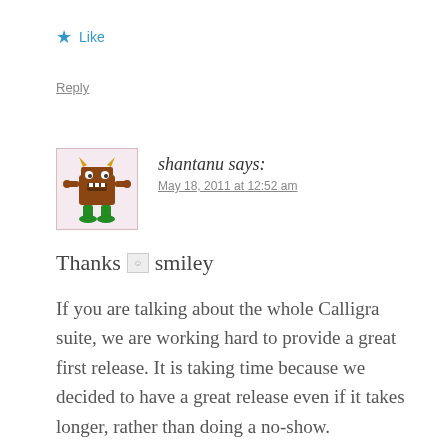★ Like
Reply
shantanu says:
May 18, 2011 at 12:52 am
Thanks :smiley
If you are talking about the whole Calligra suite, we are working hard to provide a great first release. It is taking time because we decided to have a great release even if it takes longer, rather than doing a no-show.